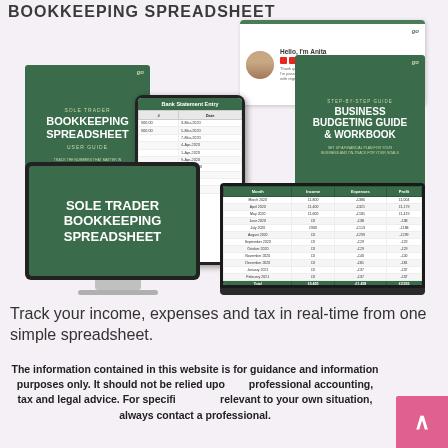BOOKKEEPING SPREADSHEET
[Figure (illustration): Product mockup showing Sole Trader Bookkeeping Spreadsheet displayed on a desktop monitor, tablet, and laptop, alongside a Step-by-Step Business Budgeting Guide booklet and a welcome page card. Green color scheme with white text.]
Track your income, expenses and tax in real-time from one simple spreadsheet.
The information contained in this website is for guidance and information purposes only. It should not be relied upon as professional accounting, tax and legal advice.  For specific advice relevant to your own situation, always contact a professional.